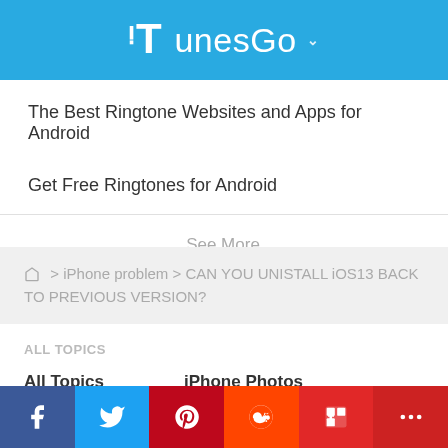[Figure (logo): TunesGo logo with white stylized T and text on blue background]
The Best Ringtone Websites and Apps for Android
Get Free Ringtones for Android
See More
Home > iPhone problem > CAN YOU UNISTALL iOS13 BACK TO PREVIOUS VERSION?
All TOPICS
All Topics    iPhone Photos
[Figure (infographic): Social media share bar with Facebook, Twitter, Pinterest, Reddit, Flipboard, and More buttons]